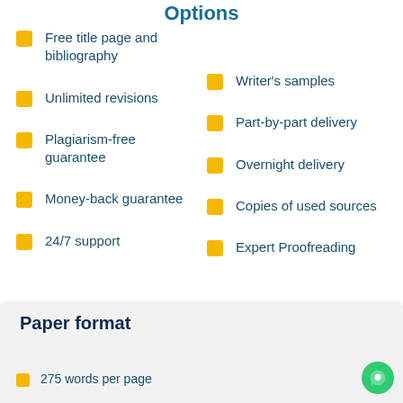Options
Free title page and bibliography
Unlimited revisions
Plagiarism-free guarantee
Money-back guarantee
24/7 support
Writer's samples
Part-by-part delivery
Overnight delivery
Copies of used sources
Expert Proofreading
Paper format
275 words per page